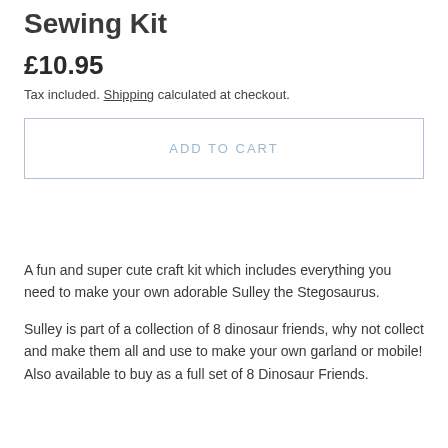Sewing Kit
£10.95
Tax included. Shipping calculated at checkout.
ADD TO CART
A fun and super cute craft kit which includes everything you need to make your own adorable Sulley the Stegosaurus.
Sulley is part of a collection of 8 dinosaur friends, why not collect and make them all and use to make your own garland or mobile! Also available to buy as a full set of 8 Dinosaur Friends.